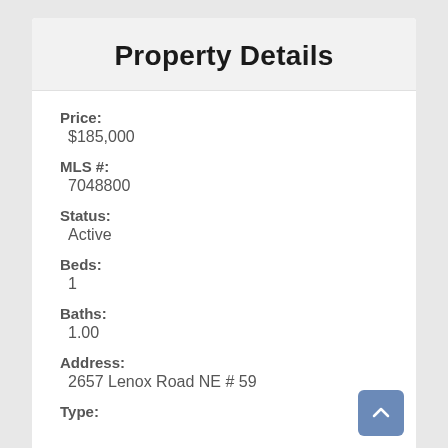Property Details
Price:
$185,000
MLS #:
7048800
Status:
Active
Beds:
1
Baths:
1.00
Address:
2657 Lenox Road NE # 59
Type: